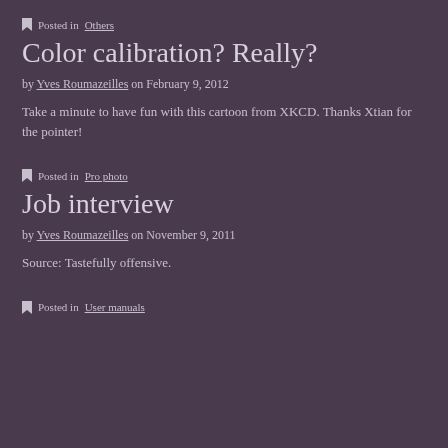Posted in Others
Color calibration? Really?
by Yves Roumazeilles on February 9, 2012
Take a minute to have fun with this cartoon from XKCD. Thanks Xtian for the pointer!
Posted in Pro photo
Job interview
by Yves Roumazeilles on November 9, 2011
Source: Tastefully offensive.
Posted in User manuals